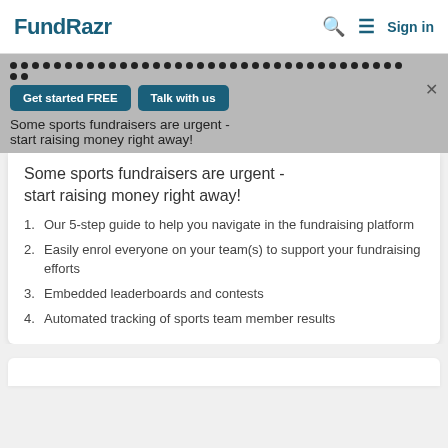FundRazr   Sign in
[Figure (screenshot): FundRazr banner with dots row, 'Get started FREE' and 'Talk with us' buttons, close X, and partial text 'Some sports fundraisers are urgent - start raising money right away!']
Some sports fundraisers are urgent - start raising money right away!
Our 5-step guide to help you navigate in the fundraising platform
Easily enrol everyone on your team(s) to support your fundraising efforts
Embedded leaderboards and contests
Automated tracking of sports team member results